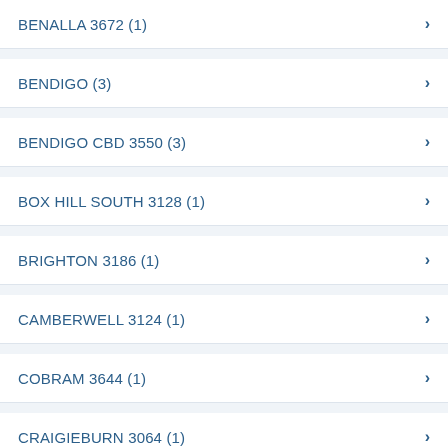BENALLA  3672 (1)
BENDIGO  (3)
BENDIGO CBD  3550 (3)
BOX HILL SOUTH  3128 (1)
BRIGHTON  3186 (1)
CAMBERWELL  3124 (1)
COBRAM  3644 (1)
CRAIGIEBURN  3064 (1)
CROYDON  3136 (1)